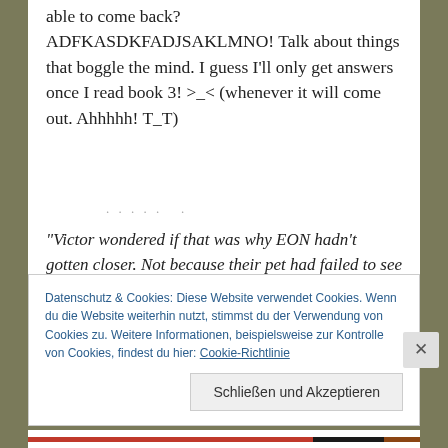able to come back? ADFKASDKFADJSAKLMNO! Talk about things that boggle the mind. I guess I'll only get answers once I read book 3! >_< (whenever it will come out. Ahhhhh! T_T)
.....
"Victor wondered if that was why EON hadn't gotten closer. Not because their pet had failed to see Victor's hand in the killings, but because he had."
Datenschutz & Cookies: Diese Website verwendet Cookies. Wenn du die Website weiterhin nutzt, stimmst du der Verwendung von Cookies zu. Weitere Informationen, beispielsweise zur Kontrolle von Cookies, findest du hier: Cookie-Richtlinie
Schließen und Akzeptieren